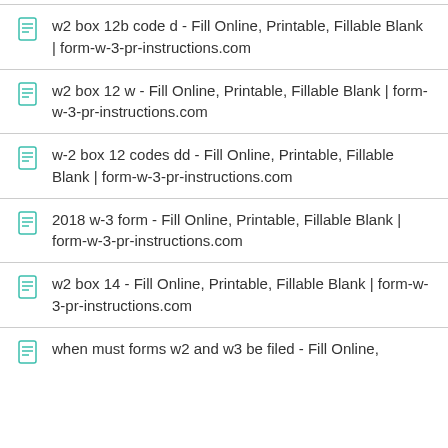w2 box 12b code d - Fill Online, Printable, Fillable Blank | form-w-3-pr-instructions.com
w2 box 12 w - Fill Online, Printable, Fillable Blank | form-w-3-pr-instructions.com
w-2 box 12 codes dd - Fill Online, Printable, Fillable Blank | form-w-3-pr-instructions.com
2018 w-3 form - Fill Online, Printable, Fillable Blank | form-w-3-pr-instructions.com
w2 box 14 - Fill Online, Printable, Fillable Blank | form-w-3-pr-instructions.com
when must forms w2 and w3 be filed - Fill Online,